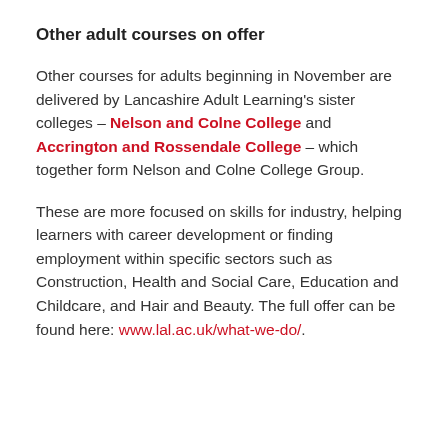Other adult courses on offer
Other courses for adults beginning in November are delivered by Lancashire Adult Learning's sister colleges – Nelson and Colne College and Accrington and Rossendale College – which together form Nelson and Colne College Group.
These are more focused on skills for industry, helping learners with career development or finding employment within specific sectors such as Construction, Health and Social Care, Education and Childcare, and Hair and Beauty. The full offer can be found here: www.lal.ac.uk/what-we-do/.